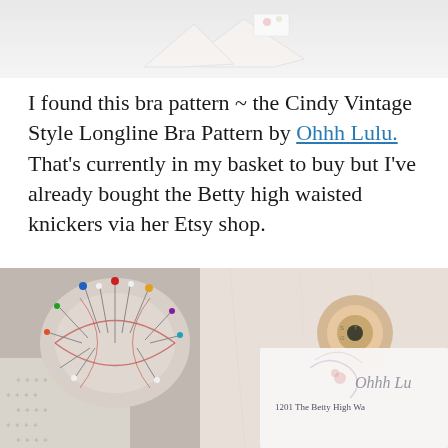[Figure (photo): Partial image of a sewing/bra pattern at the top of the page, partially cropped]
I found this bra pattern ~ the Cindy Vintage Style Longline Bra Pattern by Ohhh Lulu. That's currently in my basket to buy but I've already bought the Betty high waisted knickers via her Etsy shop.
[Figure (photo): Photo of a round pincushion filled with pins with colorful heads, a spool of thread, patterned fabric, and a white envelope/card showing 'Ohhh Lu' and '1201 The Betty High Wa' text]